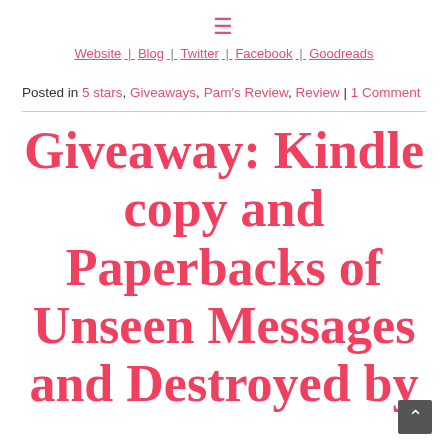≡
Website | Blog | Twitter | Facebook | Goodreads
Posted in 5 stars, Giveaways, Pam's Review, Review | 1 Comment
Giveaway: Kindle copy and Paperbacks of Unseen Messages and Destroyed by